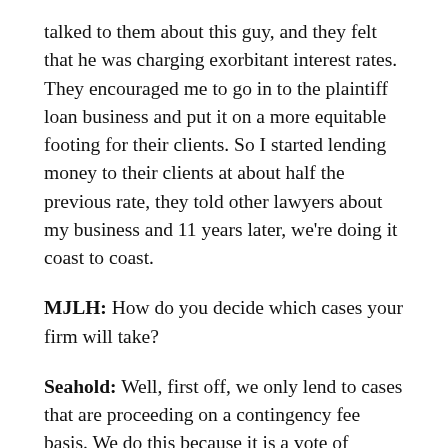talked to them about this guy, and they felt that he was charging exorbitant interest rates. They encouraged me to go in to the plaintiff loan business and put it on a more equitable footing for their clients. So I started lending money to their clients at about half the previous rate, they told other lawyers about my business and 11 years later, we're doing it coast to coast.
MJLH: How do you decide which cases your firm will take?
Seahold: Well, first off, we only lend to cases that are proceeding on a contingency fee basis. We do this because it is a vote of confidence by